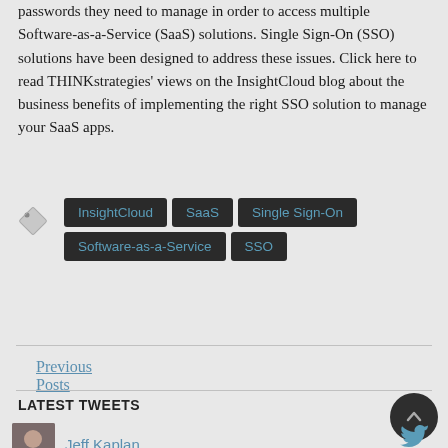passwords they need to manage in order to access multiple Software-as-a-Service (SaaS) solutions. Single Sign-On (SSO) solutions have been designed to address these issues. Click here to read THINKstrategies' views on the InsightCloud blog about the business benefits of implementing the right SSO solution to manage your SaaS apps.
[Figure (infographic): Tag icon (label/price tag graphic) followed by tag buttons: InsightCloud, SaaS, Single Sign-On, Software-as-a-Service, SSO]
Previous Posts
LATEST TWEETS
Jeff Kaplan